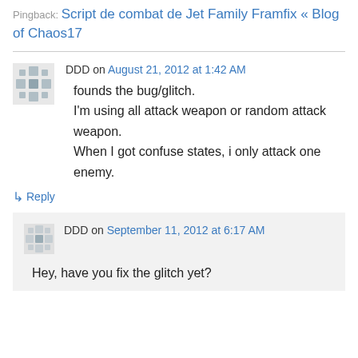Pingback: Script de combat de Jet Family Framfix « Blog of Chaos17
DDD on August 21, 2012 at 1:42 AM
founds the bug/glitch.
I'm using all attack weapon or random attack weapon.
When I got confuse states, i only attack one enemy.
↳ Reply
DDD on September 11, 2012 at 6:17 AM
Hey, have you fix the glitch yet?